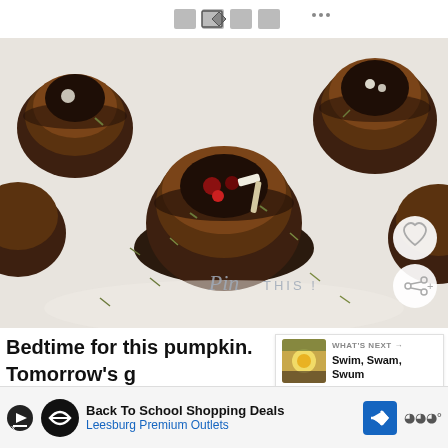[Figure (photo): Photo of stuffed mushrooms filled with cranberries, cheese, herbs, and seeds on a white surface, with 'Pin THIS!' text overlay and social buttons.]
Bedtime for this pumpkin. Tomorrow's g… a wild one – Karen's moving to Charlottesville and w…
[Figure (photo): What's Next thumbnail showing a food photo (egg/yolk dish), with label 'WHAT'S NEXT' and title 'Swim, Swam, Swum']
[Figure (photo): Advertisement banner: Back To School Shopping Deals – Leesburg Premium Outlets, with play icon, logo, and arrow.]